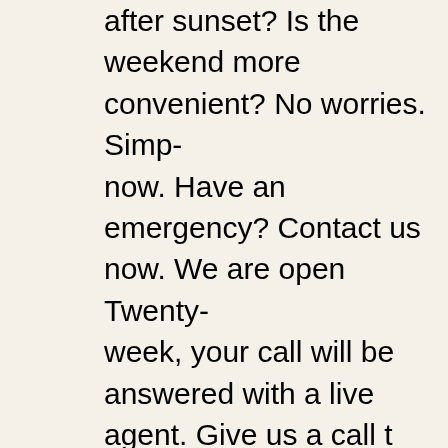after sunset? Is the weekend more convenient? No worries. Simply contact us now. Have an emergency? Contact us now. We are open Twenty-four hours a week, your call will be answered with a live agent. Give us a call to join our long list of pleased customers. When you use our team you can be certain to complete the job immediately, without any special charges and on the spot. Sherman Oaks Garage Door Repair have a lot of technicians with the ideal tool-kits, in which they are ready to serve you once they provide professional services within Montrose 91020. Services: Affordable Emergency Garage Door Repair, Best Garage Door Service, Broken Hardware, Decorative Garage Door, Overhead Repair Parts, New Door Contractor, Garage Door Extension Springs, Garage Door L... Garage Door Service, Garage Door Opener Installation, Opening Opener Parts, Garage Door Opener Repair, Garage Door Repair, Parts, Repair Liftmaster Garage, Low Rate Garage Door Service, Installation, Garage Door Track Repair, Replace Garage Doors, O... Garage Door Springs, Aluminum Garage Door, Overhead Garage And Non-insulated Steel Doors, Cheap Garage Door Opener, Tam Local Garage Door Installers, Low Cost Garage Door Repair, Gar...